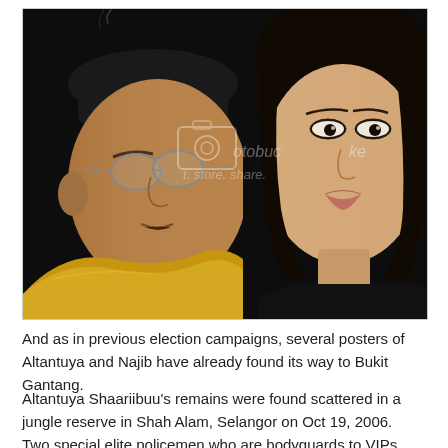[Figure (photo): Composite photograph showing two people against a dark background. On the left, a middle-aged man wearing a black traditional Malaysian hat (songkok) and yellow shirt, with glasses, viewed in profile. On the right, a young East Asian woman facing forward. A Photobucket watermark with camera icon and 'ot. store. share.' text is overlaid on the image.]
And as in previous election campaigns, several posters of Altantuya and Najib have already found its way to Bukit Gantang.
Altantuya Shaariibuu's remains were found scattered in a jungle reserve in Shah Alam, Selangor on Oct 19, 2006.
Two special elite policemen who are bodyguards to VIPs